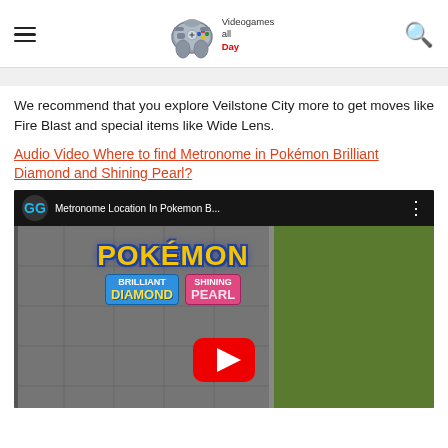Videogames all Day — navigation header with hamburger menu, logo, and search icon
We recommend that you explore Veilstone City more to get moves like Fire Blast and special items like Wide Lens.
Audio Video Where to find Metronome in Pokémon Brilliant Diamond and Shining Pearl?
[Figure (screenshot): YouTube video thumbnail showing 'Metronome Location In Pokemon B...' with GG channel logo, Pokemon Brilliant Diamond and Shining Pearl game footage, and a YouTube play button overlay.]